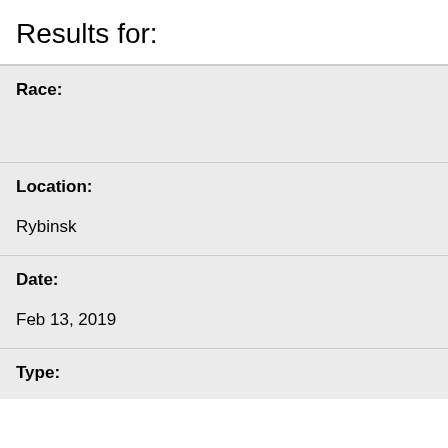Results for:
Race:
Location:
Rybinsk
Date:
Feb 13, 2019
Type: